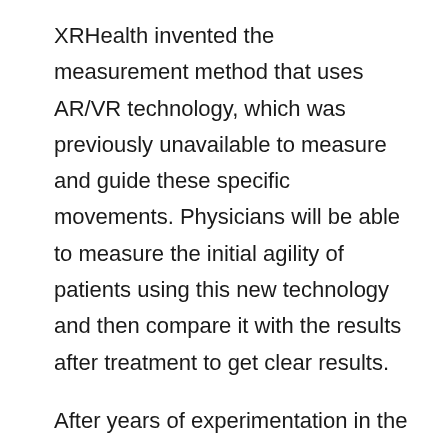XRHealth invented the measurement method that uses AR/VR technology, which was previously unavailable to measure and guide these specific movements. Physicians will be able to measure the initial agility of patients using this new technology and then compare it with the results after treatment to get clear results.
After years of experimentation in the field neck and shoulder rehabilitation, this technique was created. XRHealth discovered that there was no way to guide and measure this motion. This is crucial for rehabilitation. XRHealth has a unique 3D element made up of multiple pistons that move